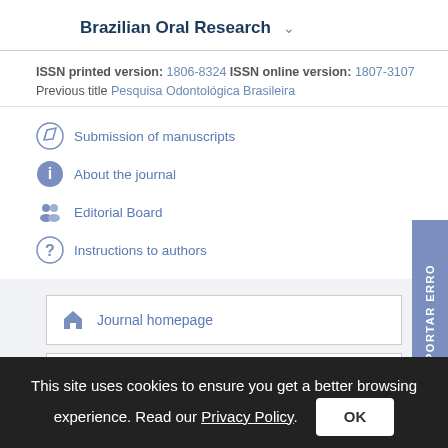Brazilian Oral Research
ISSN printed version: 1806-8324 ISSN online version: 1807-3107
Previous title Pesquisa Odontológica Brasileira
Submission of manuscripts
About the journal
Editorial Board
Instructions to authors
Journal homepage
REPORTAR ERRO
This site uses cookies to ensure you get a better browsing experience. Read our Privacy Policy.